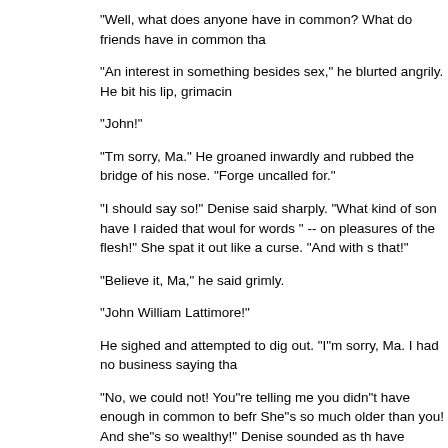“Well, what does anyone have in common? What do friends have in common tha
“An interest in something besides sex,” he blurted angrily. He bit his lip, grimacin
“John!”
“Tm sorry, Ma.” He groaned inwardly and rubbed the bridge of his nose. “Forge uncalled for.”
“I should say so!” Denise said sharply. “What kind of son have I raided that woul for words ” -- on pleasures of the flesh!” She spat it out like a curse. “And with s that!”
“Believe it, Ma,” he said grimly.
“John William Lattimore!”
He sighed and attempted to dig out. “I”m sorry, Ma. I had no business saying tha
“No, we could not! You”re telling me you didn”t have enough in common to befr She”s so much older than you! And she”s so wealthy!” Denise sounded as th have thought?”
“Apparently just about what you”re thinking right now,” John said angrily. “Lis before and I would rather not start now.”
“Maybe it”s time we did,” Denise snapped. “I never in my life thought a son of mi
“What do you mean by that?” he snarled.
“Don”t take that tone with me, young man,” Denise said. “Do you think such dis it was only physical”?”